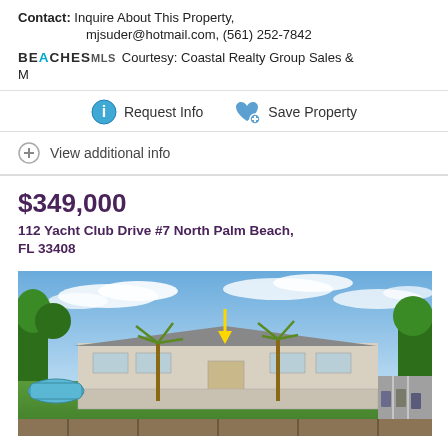Contact: Inquire About This Property, mjsuder@hotmail.com, (561) 252-7842
BEACHES MLS Courtesy: Coastal Realty Group Sales & M
Request Info  Save Property
View additional info
$349,000
112 Yacht Club Drive #7 North Palm Beach, FL 33408
[Figure (photo): Aerial/eye-level photo of a single-story residential property with palm trees, green lawn, pool area on left, parking lot on right, under a blue sky with clouds. A yellow arrow points down to the property.]